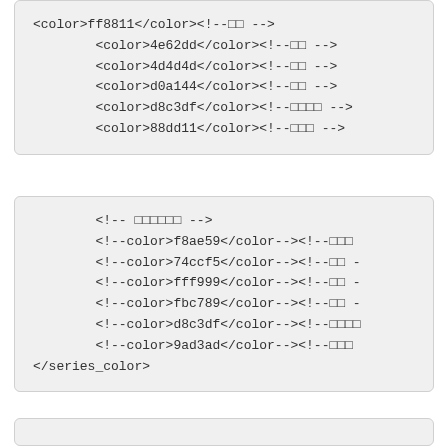<color>ff8811</color><!--□□ -->
<color>4e62dd</color><!--□□ -->
<color>4d4d4d</color><!--□□ -->
<color>d0a144</color><!--□□ -->
<color>d8c3df</color><!--□□□□ -->
<color>88dd11</color><!--□□□ -->
<!-- □□□□□□ -->
<!--color>f8ae59</color--><!--□□□
<!--color>74ccf5</color--><!--□□ -
<!--color>fff999</color--><!--□□ -
<!--color>fbc789</color--><!--□□ -
<!--color>d8c3df</color--><!--□□□□
<!--color>9ad3ad</color--><!--□□□
</series_color>